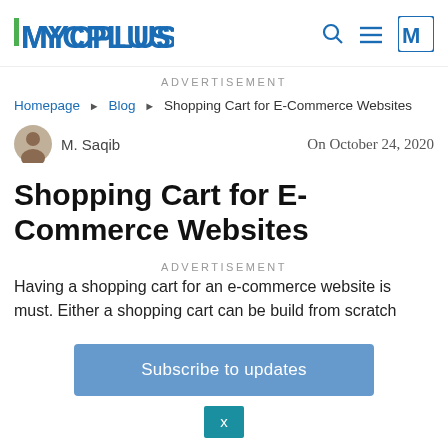MYCPLUS
ADVERTISEMENT
Homepage ▶ Blog ▶ Shopping Cart for E-Commerce Websites
M. Saqib   On October 24, 2020
Shopping Cart for E-Commerce Websites
ADVERTISEMENT
Having a shopping cart for an e-commerce website is must. Either a shopping cart can be build from scratch
Subscribe to updates
x